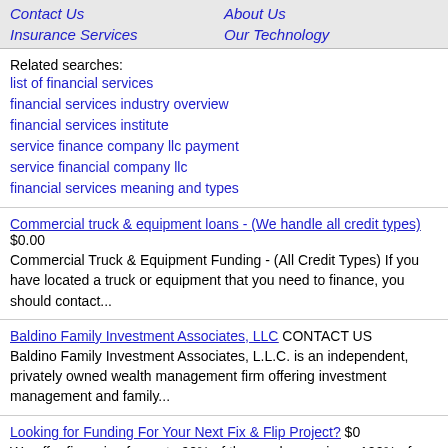Contact Us | About Us | Insurance Services | Our Technology
Related searches:
list of financial services
financial services industry overview
financial services institute
service finance company llc payment
service financial company llc
financial services meaning and types
Commercial truck & equipment loans - (We handle all credit types) $0.00
Commercial Truck & Equipment Funding - (All Credit Types) If you have located a truck or equipment that you need to finance, you should contact...
Baldino Family Investment Associates, LLC CONTACT US
Baldino Family Investment Associates, L.L.C. is an independent, privately owned wealth management firm offering investment management and family...
Looking for Funding For Your Next Fix & Flip Project? $0
We offer financing for up to 90% of the purchase price + 100% of renovation costs, not to exceed 75% of the after repair value. LOAN CRITERIA...